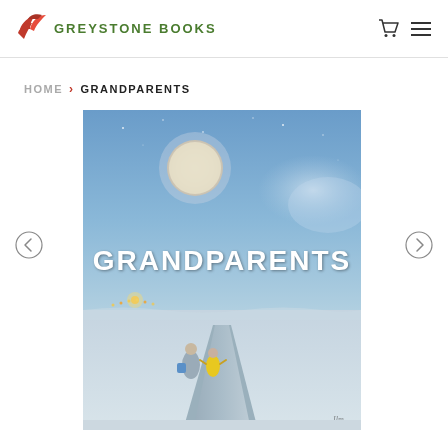GREYSTONE BOOKS
HOME › GRANDPARENTS
[Figure (illustration): Book cover for 'GRANDPARENTS' — blue night sky with a full moon, two small figures (a grandparent and child) walking along a snowy path, with a distant lit house or lamp and stars in the sky. The word GRANDPARENTS appears in white text.]